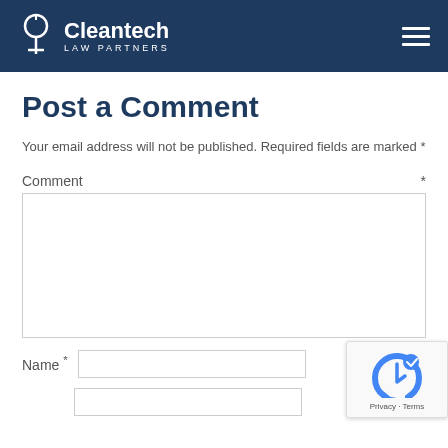Cleantech Law Partners
Post a Comment
Your email address will not be published. Required fields are marked *
Comment *
Name *
[Figure (other): reCAPTCHA badge with robot icon and Privacy - Terms text]